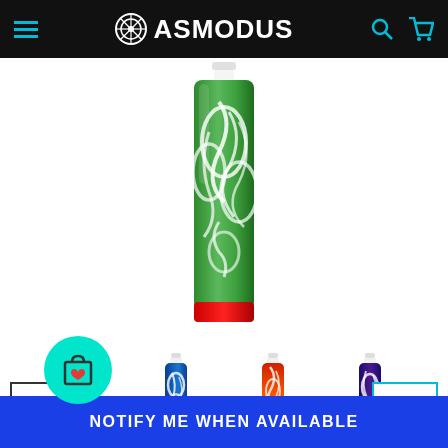ASMODUS
[Figure (photo): Close-up of an ASMODUS vape/e-cigarette device with green tropical leaf pattern and red base, shown vertically]
[Figure (photo): Four ASMODUS vape devices shown as thumbnails: green pattern, blue pattern, red/orange pattern, and dark blue/purple pattern, each with red base]
NOTIFY ME WHEN AVAILABLE